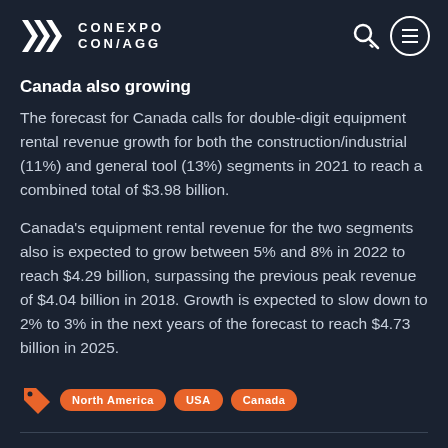CONEXPO CON/AGG
Canada also growing
The forecast for Canada calls for double-digit equipment rental revenue growth for both the construction/industrial (11%) and general tool (13%) segments in 2021 to reach a combined total of $3.98 billion.
Canada's equipment rental revenue for the two segments also is expected to grow between 5% and 8% in 2022 to reach $4.29 billion, surpassing the previous peak revenue of $4.04 billion in 2018. Growth is expected to slow down to 2% to 3% in the next years of the forecast to reach $4.73 billion in 2025.
North America
USA
Canada